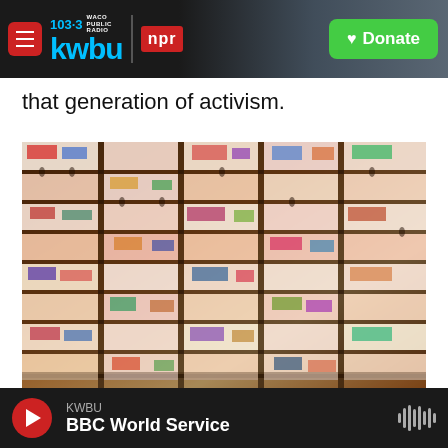103.3 KWBU WACO PUBLIC RADIO | npr | Donate
that generation of activism.
[Figure (photo): Aerial view of the AIDS Memorial Quilt panels laid out in a large outdoor space, with people walking between rows of colorful quilt panels.]
Joyce Naltchayan / AFP Via Getty Images / AFP Via Getty Images
KWBU | BBC World Service